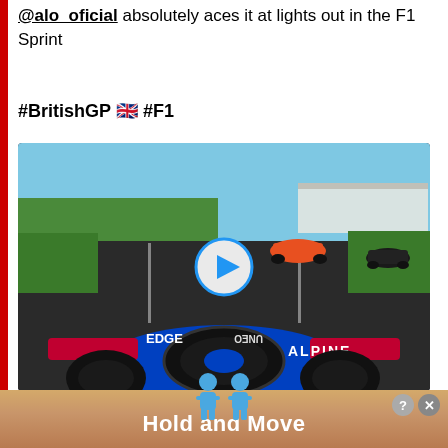@alo_oficial absolutely aces it at lights out in the F1 Sprint
#BritishGP 🇬🇧 #F1
[Figure (screenshot): Onboard camera view from an Alpine F1 car at Silverstone during the British GP Sprint race, showing other cars ahead on track. A circular play button overlay is in the center.]
[Figure (other): Advertisement banner for 'Hold and Move' app showing two blue character icons and a wooden surface background.]